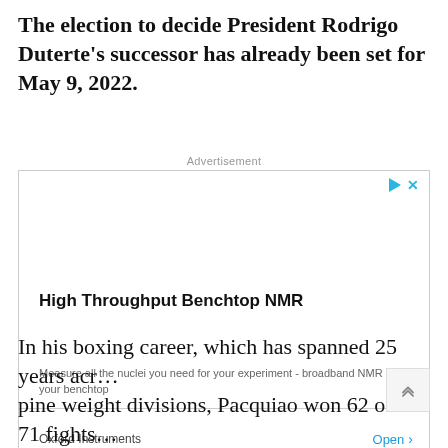The election to decide President Rodrigo Duterte's successor has already been set for May 9, 2022.
[Figure (other): Advertisement box for Oxford Instruments - High Throughput Benchtop NMR. Contains ad controls (play and close buttons), bold heading 'High Throughput Benchtop NMR', body text 'Measure all the nuclei you need for your experiment - broadband NMR on your benchtop', company name 'Oxford Instruments', and 'Open' button with chevron.]
In his boxing career, which has spanned 25 years acr… pine weight divisions, Pacquiao won 62 of his 71 fights…